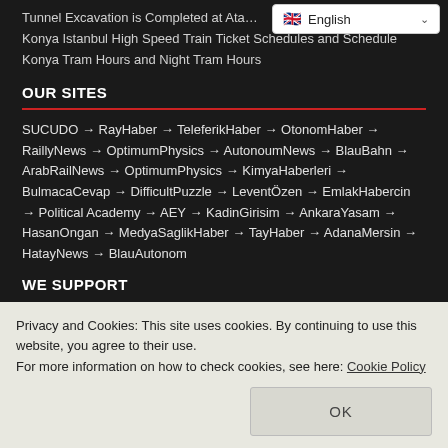Tunnel Excavation is Completed at Ata…
Konya Istanbul High Speed Train Ticket Schedules and Schedule
Konya Tram Hours and Night Tram Hours
OUR SITES
SUCUDO → RayHaber → TeleferikHaber → OtonomHaber → RaillyNews → OptimumPhysics → AutonoumNews → BlauBahn → ArabRailNews → OptimumPhysics → KimyaHaberleri → BulmacaCevap → DifficultPuzzle → LeventÖzen → EmlakHabercin → Political Academy → AEY → KadinGirisim → AnkaraYasam → HasanOngan → MedyaSaglikHaber → TayHaber → AdanaMersin → HatayNews → BlauAutonom
WE SUPPORT
Privacy and Cookies: This site uses cookies. By continuing to use this website, you agree to their use.
For more information on how to check cookies, see here: Cookie Policy